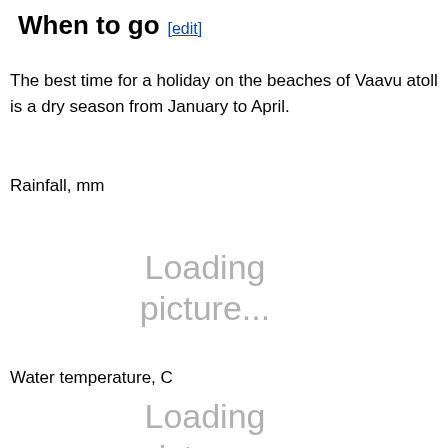When to go [edit]
The best time for a holiday on the beaches of Vaavu atoll is a dry season from January to April.
Rainfall, mm
[Figure (other): Loading picture... placeholder for rainfall chart]
Water temperature, C
[Figure (other): Loading picture... placeholder for water temperature chart]